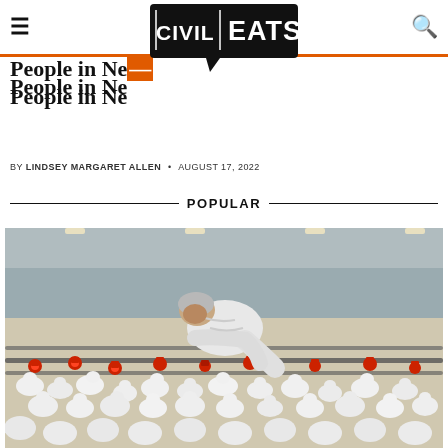Civil Eats
People in Need
BY LINDSEY MARGARET ALLEN • AUGUST 17, 2022
POPULAR
[Figure (photo): A person in white protective clothing leaning over metal rails in a large poultry farm facility filled with white chickens and red waterers]